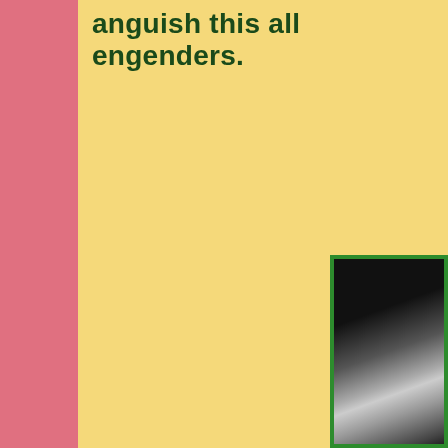anguish this all engenders.
[Figure (photo): Black and white photograph partially visible in lower right corner, framed with a green border, showing a person in a dark background with light tones in the lower portion.]